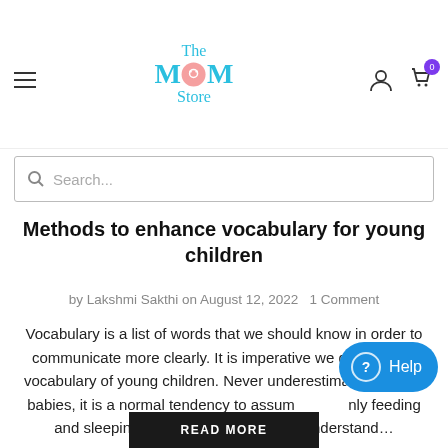[Figure (logo): The MOM Store logo in cyan/teal color with a pink circular emblem]
Search...
Methods to enhance vocabulary for young children
by Lakshmi Sakthi on August 12, 2022  1 Comment
Vocabulary is a list of words that we should know in order to communicate more clearly. It is imperative we develop the vocabulary of young children. Never underestimate newborn babies, it is a normal tendency to assume they only feeding and sleeping. Indeed, the babies can understand…
READ MORE